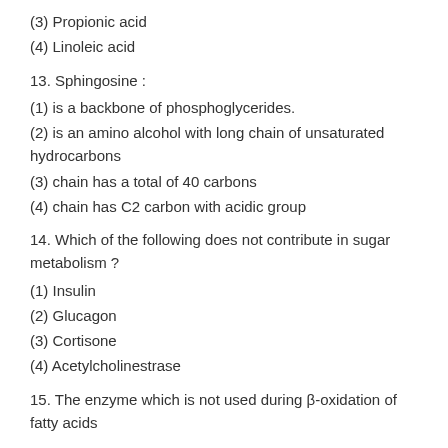(3) Propionic acid
(4) Linoleic acid
13. Sphingosine :
(1) is a backbone of phosphoglycerides.
(2) is an amino alcohol with long chain of unsaturated hydrocarbons
(3) chain has a total of 40 carbons
(4) chain has C2 carbon with acidic group
14. Which of the following does not contribute in sugar metabolism ?
(1) Insulin
(2) Glucagon
(3) Cortisone
(4) Acetylcholinestrase
15. The enzyme which is not used during β-oxidation of fatty acids